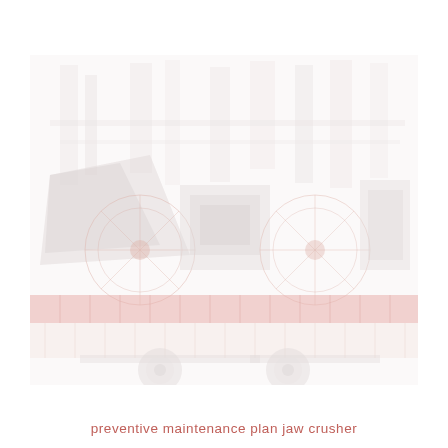[Figure (photo): A faded/watermarked photograph of a jaw crusher mounted on a flatbed truck or trailer. The heavy industrial crushing equipment is shown with large flywheels visible, along with red/orange structural frame components of the transport trailer. Additional industrial machinery visible in background. Image appears washed out/very light as a background watermark.]
preventive maintenance plan jaw crusher